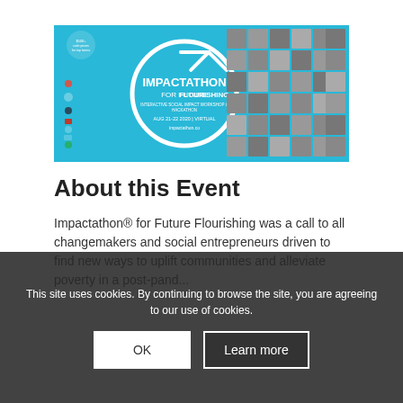[Figure (illustration): Impactathon for Future Flourishing event banner. Teal/blue background with a large white circle and arrow logo. Text reads: IMPACTATHON FOR FUTURE FLOURISHING, Interactive Social Impact Workshop & Hackathon, AUG 21-22 2020 | VIRTUAL, impactathon.co. Left side has partner logos. Right side shows a 5x6 grid of black-and-white headshot photos of participants.]
About this Event
Impactathon® for Future Flourishing was a call to all changemakers and social entrepreneurs driven to find new ways to uplift communities and alleviate poverty in a post-pand...
This site uses cookies. By continuing to browse the site, you are agreeing to our use of cookies.